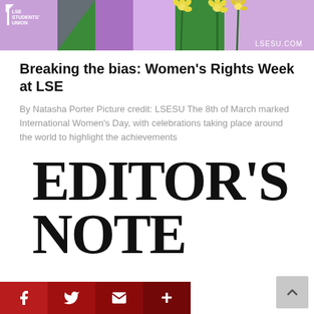[Figure (illustration): LSE Students' Union banner with purple, green, and lavender colors with decorative flowers and LSESU.COM text]
Breaking the bias: Women's Rights Week at LSE
By Natasha Porter Picture credit: LSESU The 8th of March marked International Women's Day, with celebrations taking place around the world to highlight the achievements
EDITOR'S NOTE